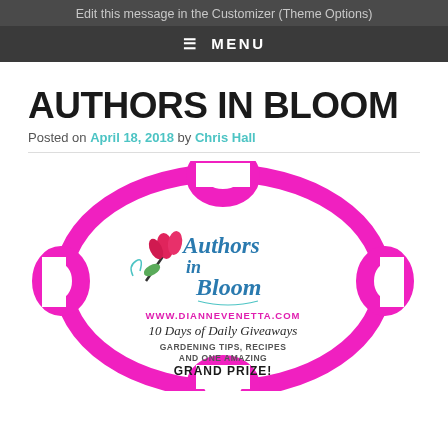Edit this message in the Customizer (Theme Options)
≡ MENU
AUTHORS IN BLOOM
Posted on April 18, 2018 by Chris Hall
[Figure (illustration): Authors in Bloom promotional badge/logo with pink oval border, tulip illustration, cursive 'Authors in Bloom' text, www.diannevenetta.com, '10 Days of Daily Giveaways', 'Gardening Tips, Recipes and One Amazing Grand Prize!']